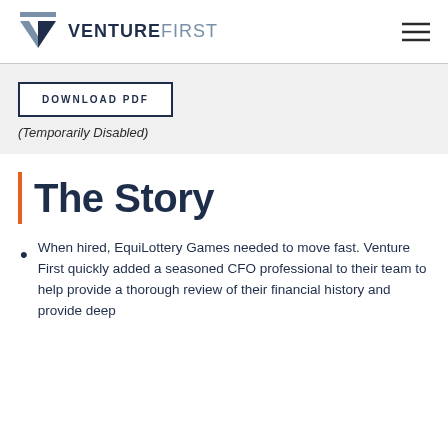[Figure (logo): VentureFirst logo with checkmark/arrow icon and text VENTURE FIRST]
DOWNLOAD PDF
(Temporarily Disabled)
The Story
When hired, EquiLottery Games needed to move fast. Venture First quickly added a seasoned CFO professional to their team to help provide a thorough review of their financial history and provide deep